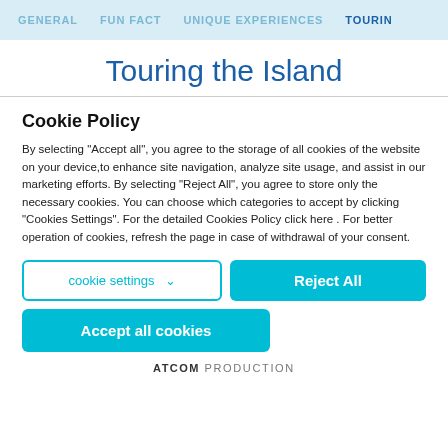GENERAL  FUN FACT  UNIQUE EXPERIENCES  TOURIN
Touring the Island
Cookie Policy
By selecting "Accept all", you agree to the storage of all cookies of the website on your device,to enhance site navigation, analyze site usage, and assist in our marketing efforts. By selecting "Reject All", you agree to store only the necessary cookies. You can choose which categories to accept by clicking "Cookies Settings". For the detailed Cookies Policy click here . For better operation of cookies, refresh the page in case of withdrawal of your consent.
cookie settings  ∨
Reject All
Accept all cookies
ATCOM PRODUCTION